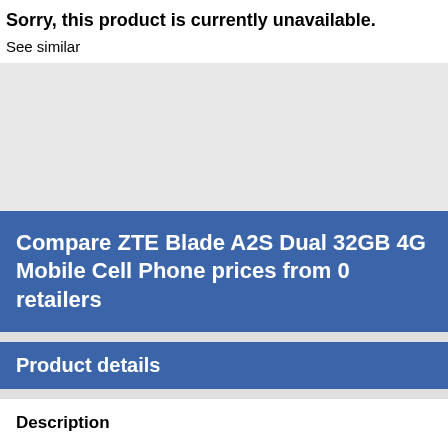Sorry, this product is currently unavailable.
See similar
[Figure (other): Grey placeholder image area]
Compare ZTE Blade A2S Dual 32GB 4G Mobile Cell Phone prices from 0 retailers
Product details
Description
ZTE Blade A2S is a budget range Android handset from famous Chinese telecom company ZTE. It runs on an Octa-core CPU installed on a Mediatek MT6753M chipset. The